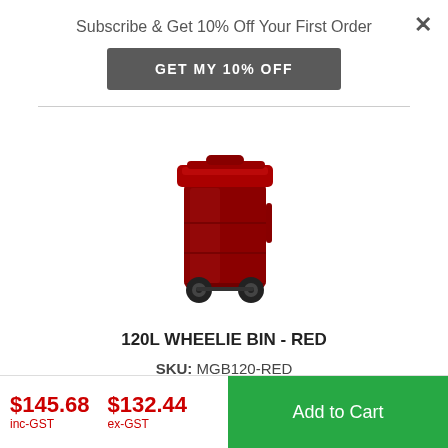Subscribe & Get 10% Off Your First Order
GET MY 10% OFF
[Figure (photo): Red 120L wheelie bin with two wheels and a red lid, facing front-left angle.]
120L WHEELIE BIN - RED
SKU: MGB120-RED
$132.44 ex-GST
$145.68 inc-GST  $132.44 ex-GST  Add to Cart